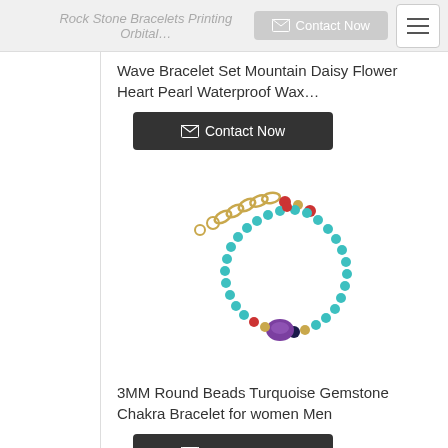Rock Stone Bracelets Printing Orbital...
Wave Bracelet Set Mountain Daisy Flower Heart Pearl Waterproof Wax…
[Figure (photo): A turquoise beaded chakra bracelet with a purple gemstone centerpiece, red and dark accent beads, and a gold extension chain, photographed on a white background.]
3MM Round Beads Turquoise Gemstone Chakra Bracelet for women Men